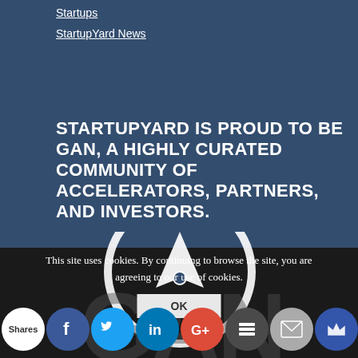Startups
StartupYard News
STARTUPYARD IS PROUD TO BE GAN, A HIGHLY CURATED COMMUNITY OF ACCELERATORS, PARTNERS, AND INVESTORS.
[Figure (illustration): Compass/speedometer circular icon in white outline with a pointer/needle inside, partially visible. GAN watermark text visible in background.]
This site uses cookies. By continuing to browse the site, you are agreeing to our use of cookies.
[Figure (screenshot): Social sharing bar with buttons: Shares (white), Facebook (blue), Twitter (cyan), LinkedIn (blue), Google+ (red), Buffer (dark gray), Mail (gray), Crown icon (dark blue)]